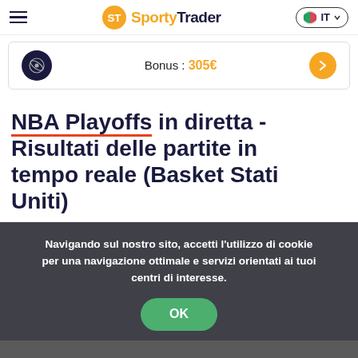SportyTrader IT
[Figure (other): Bonus banner: logo circle with orbit icon, text 'Bonus : 305€', orange arrow button]
NBA Playoffs in diretta - Risultati delle partite in tempo reale (Basket Stati Uniti)
Navigando sul nostro sito, accetti l'utilizzo di cookie per una navigazione ottimale e servizi orientati ai tuoi centri di interesse.
OK